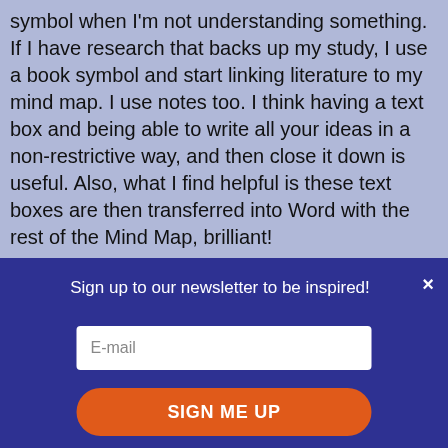symbol when I'm not understanding something. If I have research that backs up my study, I use a book symbol and start linking literature to my mind map. I use notes too. I think having a text box and being able to write all your ideas in a non-restrictive way, and then close it down is useful. Also, what I find helpful is these text boxes are then transferred into Word with the rest of the Mind Map, brilliant!
What are the challenges that inspiration has helped you to overcome?
Starting with iMind Map is difficult...
Sign up to our newsletter to be inspired!
E-mail
SIGN ME UP